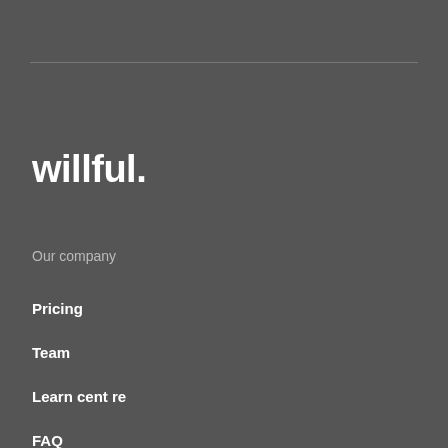[Figure (logo): Willful company logo - text reading 'willful.' in white bold font]
Our company
Pricing
Team
Learn centre
FAQ